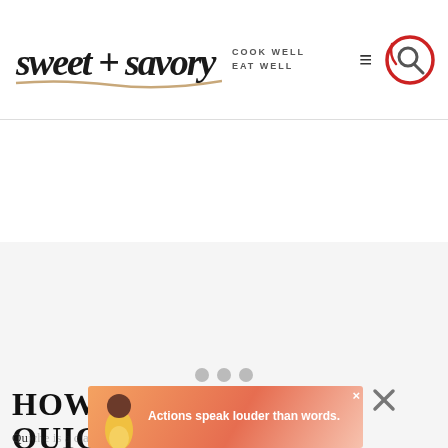[Figure (logo): sweet + savory logo with script font and tagline COOK WELL EAT WELL, hamburger menu icon, and search icon in red circle]
[Figure (other): Advertisement placeholder area with light grey background and three grey loading dots in the center, with Mediavine watermark in bottom right]
HOW TO FREEZE QUICHE
Qu... and
[Figure (other): Ad banner overlay: Actions speak louder than words. with illustrated person figure on orange/pink background, with close X buttons]